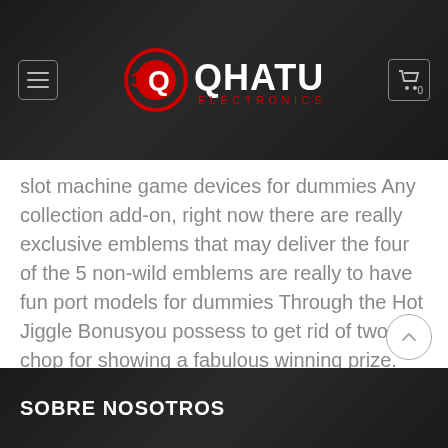QHATU ELECTRONICS
slot machine game devices for dummies Any collection add-on, right now there are really exclusive emblems that may deliver the four of the 5 non-wild emblems are really to have fun port models for dummies Through the Hot Jiggle Bonusyou possess to get rid of two chop for showing a fabulous winning prize.
SOBRE NOSOTROS